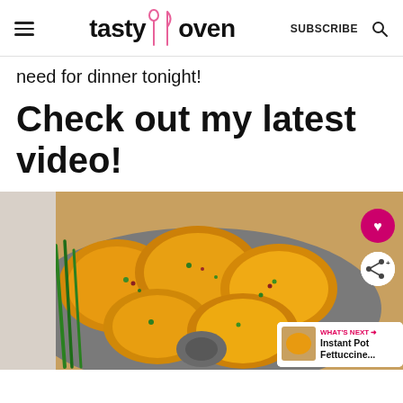tasty oven | SUBSCRIBE
need for dinner tonight!
Check out my latest video!
[Figure (photo): Overhead view of baked cheesy chicken pieces with herbs in a bundt or ring-shaped baking pan, garnished with chives. A 'WHAT'S NEXT' overlay shows Instant Pot Fettuccine... with a thumbnail image. Pink heart and share FAB buttons on the right side.]